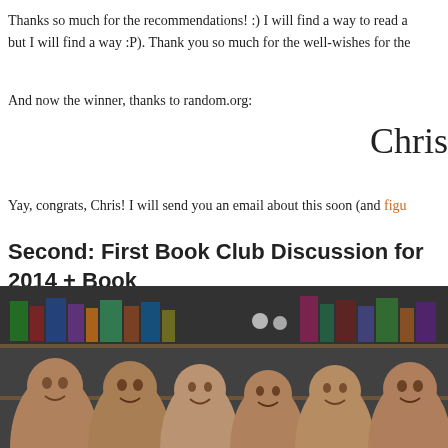Thanks so much for the recommendations! :) I will find a way to read a but I will find a way :P). Thank you so much for the well-wishes for the
And now the winner, thanks to random.org:
Chris
Yay, congrats, Chris! I will send you an email about this soon (and figu
Second: First Book Club Discussion for 2014 + Book
Our book club had our first discussion for the year last January 18. We the Lane by Neil Gaiman, and we dared each other to read books. It w that my immune system gave in the middle of the discussion, so I star headache, followed by my voice going away, perhaps as a sign not to
[Figure (photo): Group photo of book club members smiling together in what appears to be a bookstore or library setting with shelves of books visible in the background.]